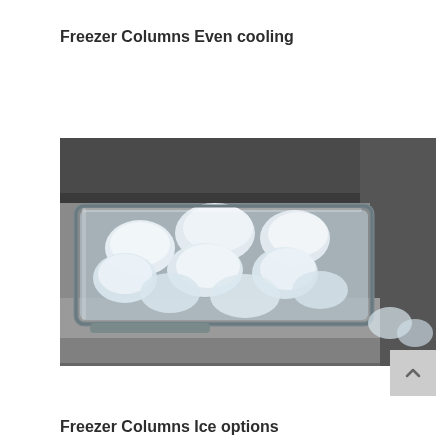Freezer Columns Even cooling
[Figure (photo): A freezer drawer pulled open showing a clear ice maker tray filled with large ice cubes, set inside a stainless steel freezer compartment. The drawer is partially open revealing ice cubes in a transparent rectangular container.]
Freezer Columns Ice options